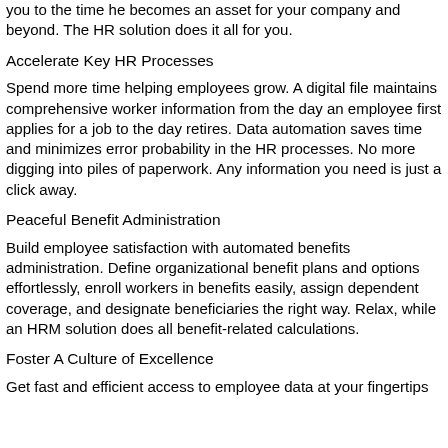you to the time he becomes an asset for your company and beyond. The HR solution does it all for you.
Accelerate Key HR Processes
Spend more time helping employees grow. A digital file maintains comprehensive worker information from the day an employee first applies for a job to the day retires. Data automation saves time and minimizes error probability in the HR processes. No more digging into piles of paperwork. Any information you need is just a click away.
Peaceful Benefit Administration
Build employee satisfaction with automated benefits administration. Define organizational benefit plans and options effortlessly, enroll workers in benefits easily, assign dependent coverage, and designate beneficiaries the right way. Relax, while an HRM solution does all benefit-related calculations.
Foster A Culture of Excellence
Get fast and efficient access to employee data at your fingertips